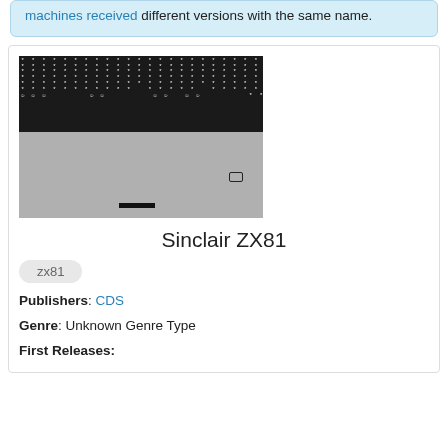machines received different versions with the same name.
[Figure (screenshot): ZX81 computer screen showing a game with asterisk characters and circular sprites on a dark background, with a grey lower portion]
Sinclair ZX81
zx81
Publishers: CDS
Genre: Unknown Genre Type
First Releases: